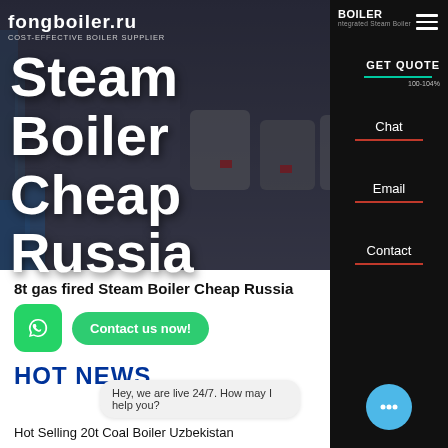[Figure (screenshot): Hero banner showing industrial steam boilers in a dark facility, with website navigation bar overlay]
fongboiler.ru COST-EFFECTIVE BOILER SUPPLIER
Steam Boiler Cheap Russia
8t gas fired Steam Boiler Cheap Russia
HOT NEWS
Hey, we are live 24/7. How may I help you?
Hot Selling 20t Coal Boiler Uzbekistan